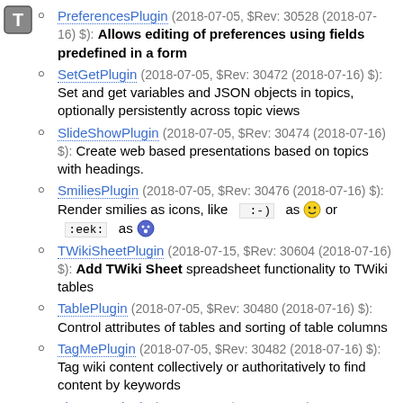PreferencesPlugin (2018-07-05, $Rev: 30528 (2018-07-16) $): Allows editing of preferences using fields predefined in a form
SetGetPlugin (2018-07-05, $Rev: 30472 (2018-07-16) $): Set and get variables and JSON objects in topics, optionally persistently across topic views
SlideShowPlugin (2018-07-05, $Rev: 30474 (2018-07-16) $): Create web based presentations based on topics with headings.
SmiliesPlugin (2018-07-05, $Rev: 30476 (2018-07-16) $): Render smilies as icons, like  :-) as [smiley] or :eek: as [eek]
TWikiSheetPlugin (2018-07-15, $Rev: 30604 (2018-07-16) $): Add TWiki Sheet spreadsheet functionality to TWiki tables
TablePlugin (2018-07-05, $Rev: 30480 (2018-07-16) $): Control attributes of tables and sorting of table columns
TagMePlugin (2018-07-05, $Rev: 30482 (2018-07-16) $): Tag wiki content collectively or authoritatively to find content by keywords
TinyMCEPlugin (2018-07-10, $Rev: 30541 (2018-07-